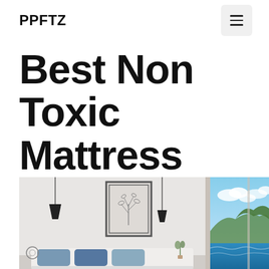PPFTZ
Best Non Toxic Mattress 2022
[Figure (photo): A modern minimalist bedroom interior with white walls, framed botanical wall art, geometric pendant lights, a white bed with blue pillows, and large windows showing a scenic coastal view with blue sky and clouds.]